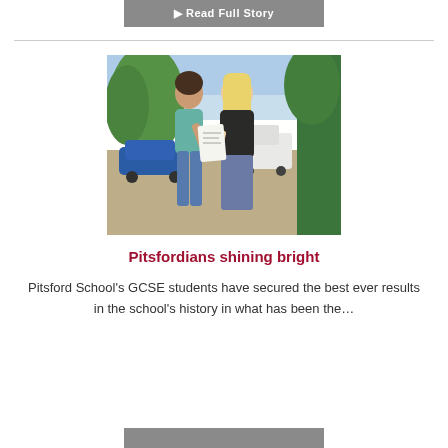Read Full Story
[Figure (photo): Two female students outdoors reading exam results paper, with trees, cars and a van in the background on a sunny day.]
Pitsfordians shining bright
Pitsford School's GCSE students have secured the best ever results in the school's history in what has been the...